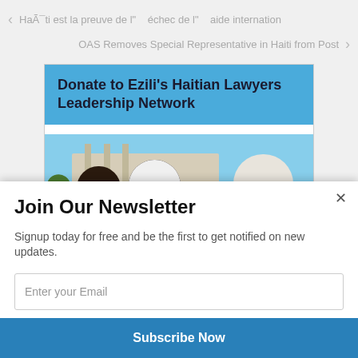< HaÃ¯ti est la preuve de l" échec de l" aide internation
OAS Removes Special Representative in Haiti from Post >
Donate to Ezili's Haitian Lawyers Leadership Network
[Figure (photo): Photo of Haitian people outdoors]
Join Our Newsletter
Signup today for free and be the first to get notified on new updates.
Enter your Email
Subscribe Now